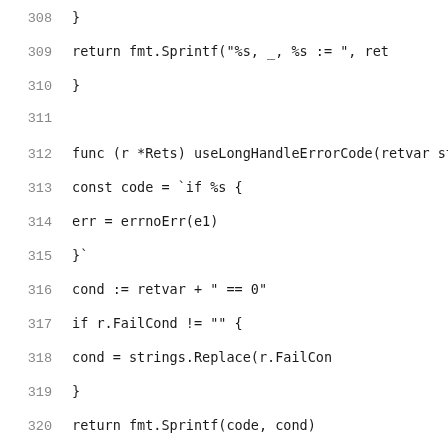308     }
309             return fmt.Sprintf("%s, _, %s := ", ret
310     }
311
312     func (r *Rets) useLongHandleErrorCode(retvar st
313             const code = `if %s {
314                     err = errnoErr(e1)
315             }`
316             cond := retvar + " == 0"
317             if r.FailCond != "" {
318                     cond = strings.Replace(r.FailCon
319             }
320             return fmt.Sprintf(code, cond)
321     }
322
323     // SetErrorCode returns source code that sets re
324     func (r *Rets) SetErrorCode() string {
325             const code = `if r0 != 0 {
326                     %s = %sErrno(r0)
327             }`
328             const ntstatus = `if r0 != 0 {
329                     ntstatus = %sNTStatus(r0)